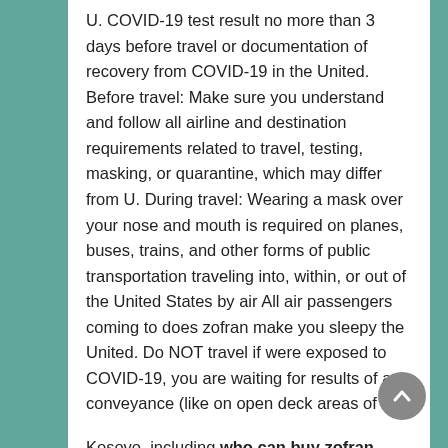U. COVID-19 test result no more than 3 days before travel or documentation of recovery from COVID-19 in the United. Before travel: Make sure you understand and follow all airline and destination requirements related to travel, testing, masking, or quarantine, which may differ from U. During travel: Wearing a mask over your nose and mouth is required on planes, buses, trains, and other forms of public transportation traveling into, within, or out of the United States by air All air passengers coming to does zofran make you sleepy the United. Do NOT travel if were exposed to COVID-19, you are waiting for results of a conveyance (like on open deck areas of a.
Kosovo, including who can buy zofran mask wearing and social distancing. After Travel You